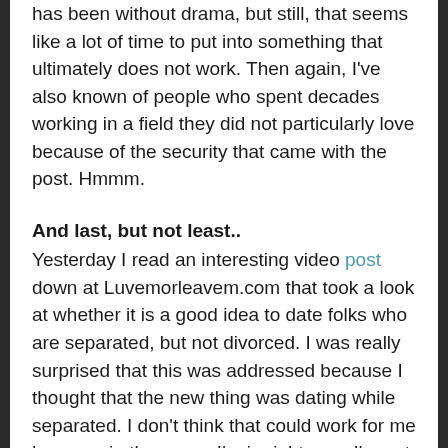has been without drama, but still, that seems like a lot of time to put into something that ultimately does not work. Then again, I've also known of people who spent decades working in a field they did not particularly love because of the security that came with the post. Hmmm.
And last, but not least..
Yesterday I read an interesting video post down at Luvemorleavem.com that took a look at whether it is a good idea to date folks who are separated, but not divorced. I was really surprised that this was addressed because I thought that the new thing was dating while separated. I don't think that could work for me because in the space I'm in right now, I'm not into shades of gray when it comes to the m-word, but like I said, it was interesting how so many of the columnists agreed and even the one who differed